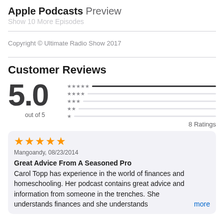Apple Podcasts Preview
Show 10 More Episodes
Copyright © Ultimate Radio Show 2017
Customer Reviews
5.0 out of 5, 8 Ratings
★★★★★ Mangoandy, 08/23/2014
Great Advice From A Seasoned Pro
Carol Topp has experience in the world of finances and homeschooling. Her podcast contains great advice and information from someone in the trenches. She understands finances and she understands more